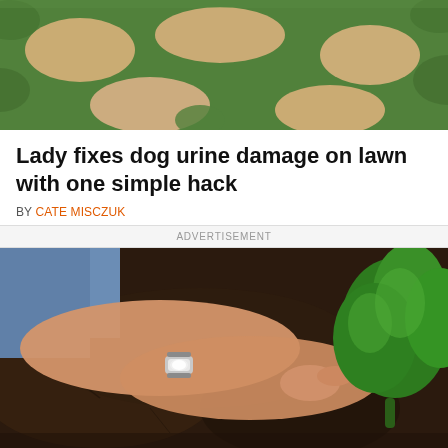[Figure (photo): Aerial view of a lawn with patches of dead/brown grass surrounded by healthy green grass, showing dog urine damage pattern]
Lady fixes dog urine damage on lawn with one simple hack
BY CATE MISCZUK
ADVERTISEMENT
[Figure (photo): Close-up of a person's hands (wearing a silver watch) planting or tending to a small green plant in dark soil/mulch]
© DIY Everywhere   About Ads   Terms   Privacy   Do Not Sell My Info